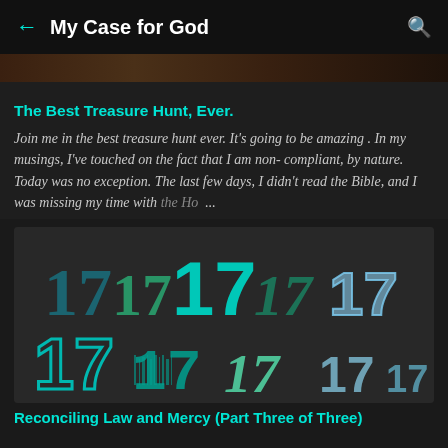← My Case for God 🔍
[Figure (photo): Partial image strip at top of article]
The Best Treasure Hunt, Ever.
Join me in the best treasure hunt ever. It's going to be amazing . In my musings, I've touched on the fact that I am non-compliant, by nature. Today was no exception. The last few days, I didn't read the Bible, and I was missing my time with the Ho ...
[Figure (illustration): Decorative image showing multiple stylized versions of the number 17 in various fonts and colors including teal, mint green, blue, and other styles on a dark background]
Reconciling Law and Mercy (Part Three of Three)